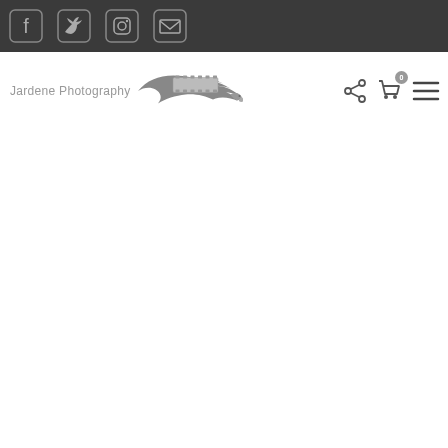Jardene Photography website header with social icons (Facebook, Twitter, Instagram, Email) and navigation bar with logo, share, cart (0), and menu icons
[Figure (screenshot): Website header screenshot for Jardene Photography showing a dark top bar with social media icons (Facebook, Twitter, Instagram, Email) and a white navigation bar below with the Jardene Photography logo (text + eagle/film strip graphic), share icon, shopping cart icon with badge '0', and hamburger menu icon.]